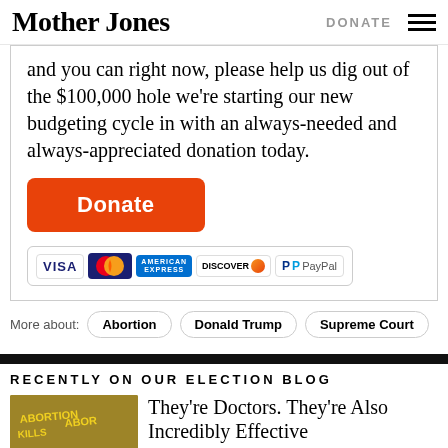Mother Jones | DONATE
and you can right now, please help us dig out of the $100,000 hole we're starting our new budgeting cycle in with an always-needed and always-appreciated donation today.
[Figure (infographic): Orange Donate button followed by payment icons: Visa, MasterCard, American Express, Discover, PayPal]
More about: Abortion | Donald Trump | Supreme Court
RECENTLY ON OUR ELECTION BLOG
[Figure (photo): Signs reading ABORTION KILLS]
They're Doctors. They're Also Incredibly Effective